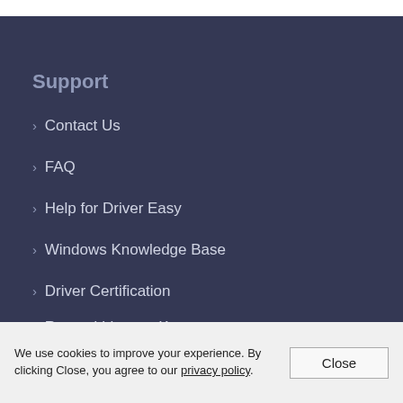Support
› Contact Us
› FAQ
› Help for Driver Easy
› Windows Knowledge Base
› Driver Certification
› Resend License Key
We use cookies to improve your experience. By clicking Close, you agree to our privacy policy.